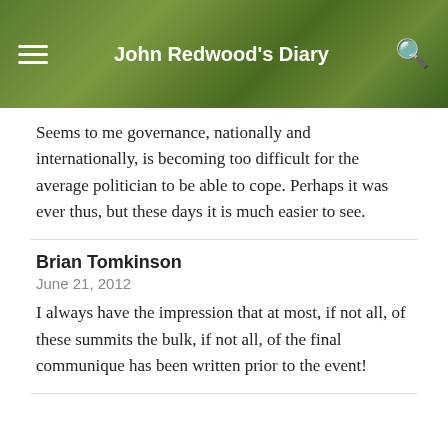John Redwood's Diary
Seems to me governance, nationally and internationally, is becoming too difficult for the average politician to be able to cope. Perhaps it was ever thus, but these days it is much easier to see.
Brian Tomkinson
June 21, 2012
I always have the impression that at most, if not all, of these summits the bulk, if not all, of the final communique has been written prior to the event!